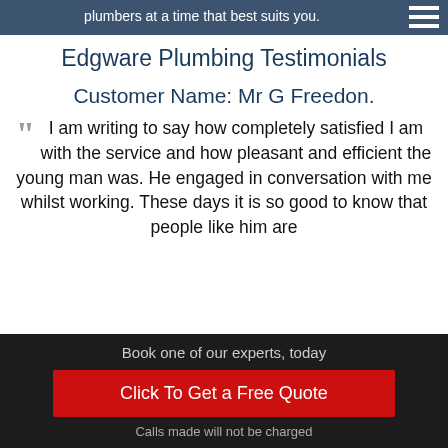plumbers at a time that best suits you.
Edgware Plumbing Testimonials
Customer Name: Mr G Freedon.
“ I am writing to say how completely satisfied I am with the service and how pleasant and efficient the young man was. He engaged in conversation with me whilst working. These days it is so good to know that people like him are
Book one of our experts, today
Click To Get a Free Quote
Calls made will not be charged